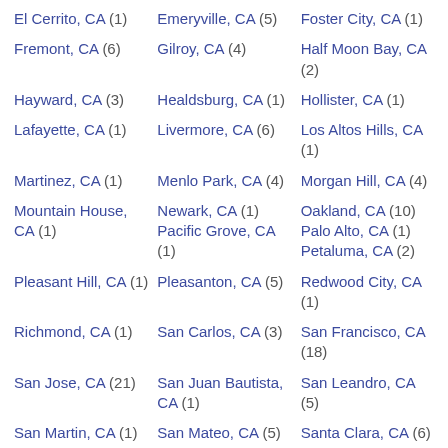El Cerrito, CA (1)
Emeryville, CA (5)
Foster City, CA (1)
Fremont, CA (6)
Gilroy, CA (4)
Half Moon Bay, CA (2)
Hayward, CA (3)
Healdsburg, CA (1)
Hollister, CA (1)
Lafayette, CA (1)
Livermore, CA (6)
Los Altos Hills, CA (1)
Martinez, CA (1)
Menlo Park, CA (4)
Morgan Hill, CA (4)
Mountain House, CA (1)
Newark, CA (1)
Oakland, CA (10)
Pacific Grove, CA (1)
Palo Alto, CA (1)
Petaluma, CA (2)
Pleasant Hill, CA (1)
Pleasanton, CA (5)
Redwood City, CA (1)
Richmond, CA (1)
San Carlos, CA (3)
San Francisco, CA (18)
San Jose, CA (21)
San Juan Bautista, CA (1)
San Leandro, CA (5)
San Martin, CA (1)
San Mateo, CA (5)
Santa Clara, CA (6)
Saratoga, CA (3)
Sonoma, CA (1)
South San Francisco, CA (2)
Stockton, CA (1)
Sunnyvale, CA (5)
Union City, CA (1)
Walnut Creek,